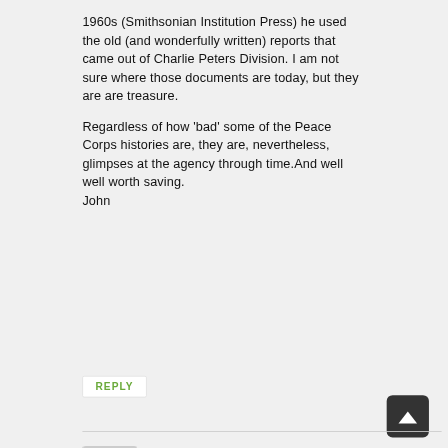1960s (Smithsonian Institution Press) he used the old (and wonderfully written) reports that came out of Charlie Peters Division. I am not sure where those documents are today, but they are are treasure.
Regardless of how 'bad' some of the Peace Corps histories are, they are, nevertheless, glimpses at the agency through time.And well well worth saving.
John
REPLY